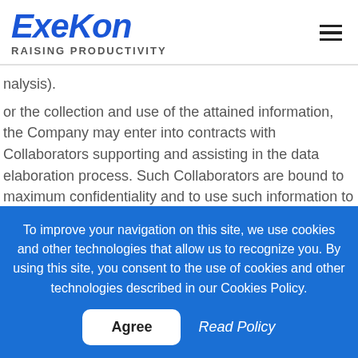ExeKon RAISING PRODUCTIVITY
nalysis).
or the collection and use of the attained information, the Company may enter into contracts with Collaborators supporting and assisting in the data elaboration process. Such Collaborators are bound to maximum confidentiality and to use such information to the only aim of favour the delivery of services.
To improve your navigation on this site, we use cookies and other technologies that allow us to recognize you. By using this site, you consent to the use of cookies and other technologies described in our Cookies Policy.
Agree   Read Policy